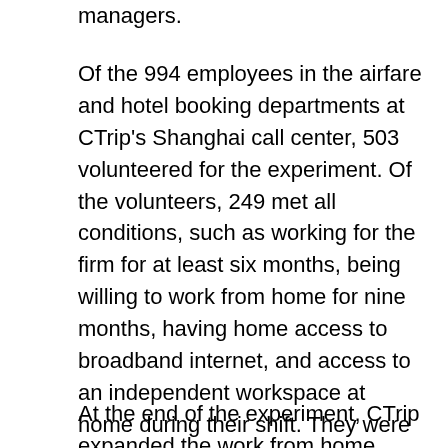managers.
Of the 994 employees in the airfare and hotel booking departments at CTrip's Shanghai call center, 503 volunteered for the experiment. Of the volunteers, 249 met all conditions, such as working for the firm for at least six months, being willing to work from home for nine months, having home access to broadband internet, and access to an independent workspace at home during their shift. They were invited to apply for the experiment. Applicants with even-numbered birth dates worked from home as part of the 131-member treatment group. Applicants with odd-numbered birth dates continued working at a company call center as part of the 118-member control group. The home workers worked from home four days per week, returning to the call center for one shift on one day.
At the end of the experiment, CTrip expanded the work from home option to the entire firm. Two-thirds of the